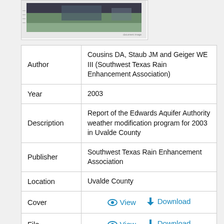[Figure (photo): Partial view of a document cover image showing an outdoor scene, cropped at top of page]
| Field | Value |
| --- | --- |
| Author | Cousins DA, Staub JM and Geiger WE III (Southwest Texas Rain Enhancement Association) |
| Year | 2003 |
| Description | Report of the Edwards Aquifer Authority weather modification program for 2003 in Uvalde County |
| Publisher | Southwest Texas Rain Enhancement Association |
| Location | Uvalde County |
| Cover | View  Download |
| File | View  Download |